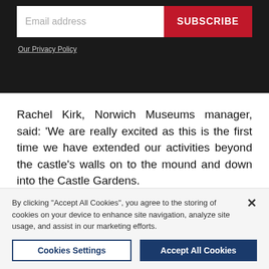[Figure (screenshot): Dark background newsletter signup section with an email address input field and a red SUBSCRIBE button, and an 'Our Privacy Policy' link below.]
Rachel Kirk, Norwich Museums manager, said: 'We are really excited as this is the first time we have extended our activities beyond the castle's walls on to the mound and down into the Castle Gardens.
'The combination of in-house generated activities and events and re-enactors from across the region and
By clicking "Accept All Cookies", you agree to the storing of cookies on your device to enhance site navigation, analyze site usage, and assist in our marketing efforts.